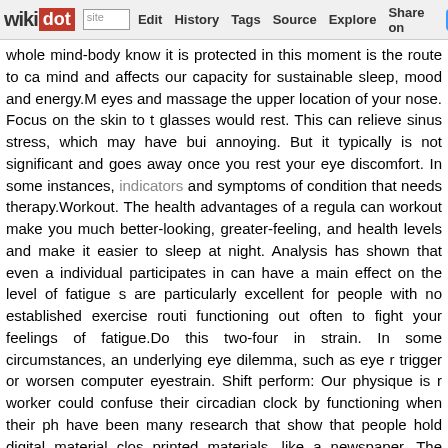wikidot | site | Edit | History | Tags | Source | Explore | Share on Twitter
whole mind-body know it is protected in this moment is the route to ca mind and affects our capacity for sustainable sleep, mood and energy.M eyes and massage the upper location of your nose. Focus on the skin to t glasses would rest. This can relieve sinus stress, which may have bui annoying. But it typically is not significant and goes away once you rest your eye discomfort. In some instances, indicators and symptoms of condition that needs therapy.Workout. The health advantages of a regula can workout make you much better-looking, greater-feeling, and health levels and make it easier to sleep at night. Analysis has shown that even a individual participates in can have a main effect on the level of fatigue s are particularly excellent for people with no established exercise routi functioning out often to fight your feelings of fatigue.Do this two-four in strain. In some circumstances, an underlying eye dilemma, such as eye r trigger or worsen computer eyestrain. Shift perform: Our physique is r worker could confuse their circadian clock by functioning when their ph have been many research that show that people hold digital material clos printed materials, like a newspaper. The closer you hold some thing to y them. Make a conscious work to hold digital devices like your intelligen regular adjust the settings if needed to enable larger print.There are ma irritated. If you put on contacts constantly, try interchanging them with gla remedy. Carry rewetting drops with you and apply each couple of ho Makeup can also trigger irritation. Attempt all natural, hypo-allergenic ma eyes. If irritated eyes are accompanied with sniffling and a sore throat, a assist, as you are most most likely suffering from allergies.I want I cou sleeping voluntarily. The truth is that it was thrust upon me by modern university, I got an eight-hour sleep without fail. It was significantly les parties to go to, and then 8am lectures to attend, but it was noneth informative article and also you want to get more details relating to simp page. The changes come later with a job and loved ones. International ti